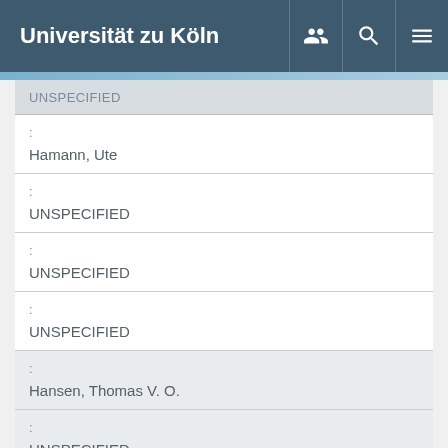Universität zu Köln
| UNSPECIFIED |
| : | Hamann, Ute |
| : | UNSPECIFIED |
| : | UNSPECIFIED |
| : | UNSPECIFIED |
| : | Hansen, Thomas V. O. |
| : | UNSPECIFIED |
| : | UNSPECIFIED |